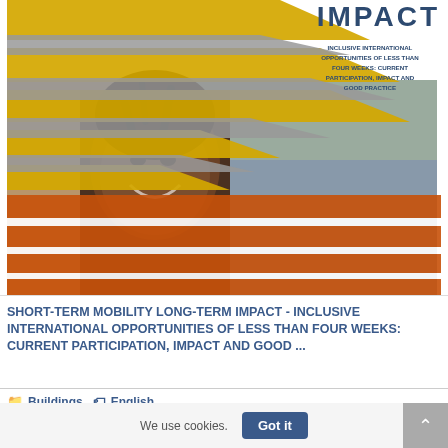[Figure (photo): Cover of a report titled 'Short-Term Mobility Long-Term Impact: Inclusive International Opportunities of Less Than Four Weeks: Current Participation, Impact and Good Practice'. The cover shows a smiling young Black person with dreadlocks in a busy street, overlaid with diagonal colored stripes (yellow, grey, orange). The word IMPACT is large in the top right corner.]
SHORT-TERM MOBILITY LONG-TERM IMPACT - INCLUSIVE INTERNATIONAL OPPORTUNITIES OF LESS THAN FOUR WEEKS: CURRENT PARTICIPATION, IMPACT AND GOOD ...
Buildings   English
We use cookies.  Got it